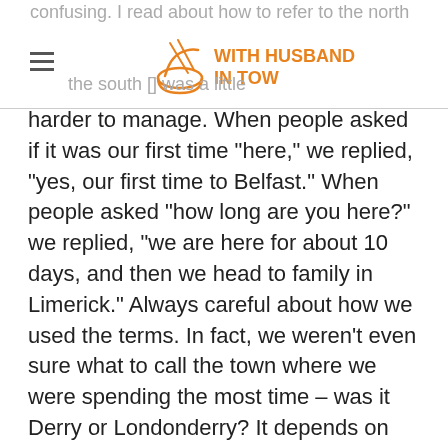confusing. I read about how to refer to the north
WITH HUSBAND IN TOW
the south [logo] was a little harder to manage. When people asked if it was our first time “here,” we replied, “yes, our first time to Belfast.”  When people asked “how long are you here?” we replied, “we are here for about 10 days, and then we head to family in Limerick.” Always careful about how we used the terms. In fact, we weren’t even sure what to call the town where we were spending the most time – was it Derry or Londonderry? It depends on who you ask.
I also read that it annoys people in the North when tourists, particularly Americans, claim to be